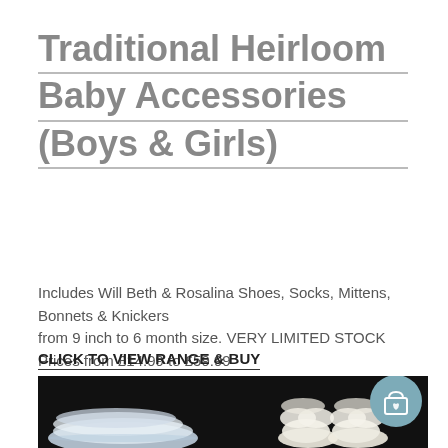Traditional Heirloom Baby Accessories (Boys & Girls)
Includes Will Beth & Rosalina Shoes, Socks, Mittens, Bonnets & Knickers
from 9 inch to 6 month size. VERY LIMITED STOCK
Prices from £14.99 to £59.99
CLICK TO VIEW RANGE & BUY
[Figure (photo): Photo of traditional heirloom baby accessories on a dark background, including lace fabric items on the left and white decorative baby shoes with bows on the right. A teal shopping cart circle icon is visible in the top right corner of the photo.]